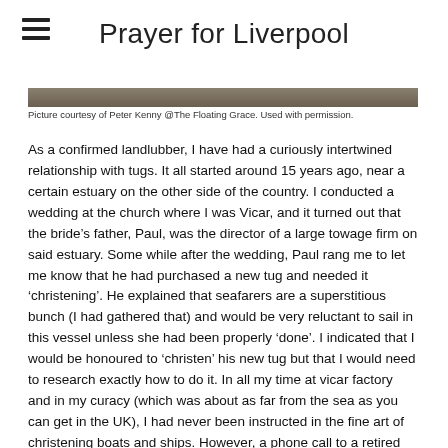Prayer for Liverpool
[Figure (photo): Partial view of a boat/tug on water, cropped at top of visible area]
Picture courtesy of Peter Kenny @The Floating Grace. Used with permission.
As a confirmed landlubber, I have had a curiously intertwined relationship with tugs. It all started around 15 years ago, near a certain estuary on the other side of the country. I conducted a wedding at the church where I was Vicar, and it turned out that the bride’s father, Paul, was the director of a large towage firm on said estuary. Some while after the wedding, Paul rang me to let me know that he had purchased a new tug and needed it ‘christening’. He explained that seafarers are a superstitious bunch (I had gathered that) and would be very reluctant to sail in this vessel unless she had been properly ‘done’. I indicated that I would be honoured to ‘christen’ his new tug but that I would need to research exactly how to do it. In all my time at vicar factory and in my curacy (which was about as far from the sea as you can get in the UK), I had never been instructed in the fine art of christening boats and ships. However, a phone call to a retired chaplain from the Mission to Seafarers soon enabled me to make up the serious deficiency in my skill-set, and